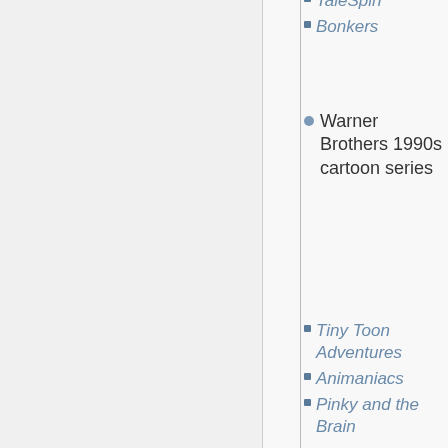TaleSpin
Bonkers
Warner Brothers 1990s cartoon series
Tiny Toon Adventures
Animaniacs
Pinky and the Brain